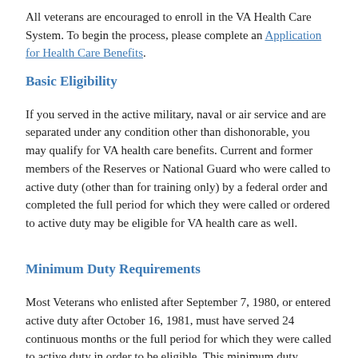All veterans are encouraged to enroll in the VA Health Care System. To begin the process, please complete an Application for Health Care Benefits.
Basic Eligibility
If you served in the active military, naval or air service and are separated under any condition other than dishonorable, you may qualify for VA health care benefits. Current and former members of the Reserves or National Guard who were called to active duty (other than for training only) by a federal order and completed the full period for which they were called or ordered to active duty may be eligible for VA health care as well.
Minimum Duty Requirements
Most Veterans who enlisted after September 7, 1980, or entered active duty after October 16, 1981, must have served 24 continuous months or the full period for which they were called to active duty in order to be eligible. This minimum duty requirement may not apply to Veterans who were discharged for a disability incurred or aggravated in the line of duty, were discharged for a hardship or received an “early out.” Since there are a number of other exceptions to the minimum duty requirements, VA encourages all Veterans to apply in